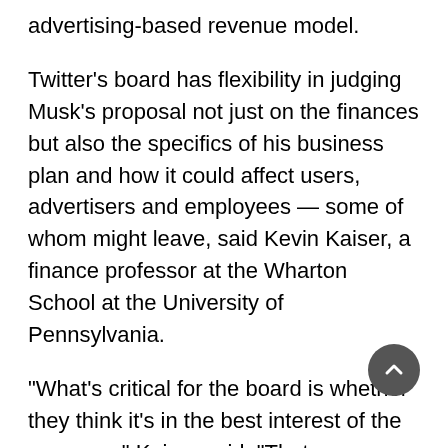advertising-based revenue model.
Twitter's board has flexibility in judging Musk's proposal not just on the finances but also the specifics of his business plan and how it could affect users, advertisers and employees — some of whom might leave, said Kevin Kaiser, a finance professor at the Wharton School at the University of Pennsylvania.
“What’s critical for the board is whether they think it's in the best interest of the company,” Kaiser said. “That can come from many, many factors.”
Kaiser said the board could decide that Musk’s plan has “too many negative impacts,” but that would be a hard case to make given how much Musk is offering to pay.